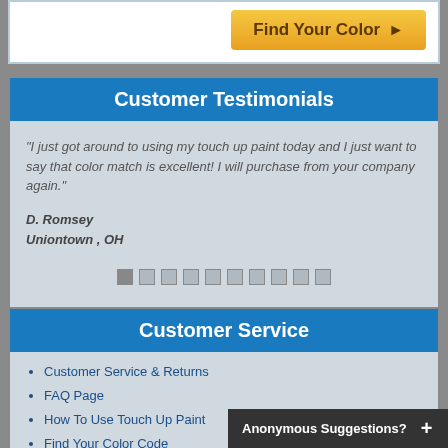[Figure (other): Orange/yellow 'Find Your Color ►' button on white background]
Customer Testimonials
"I just got around to using my touch up paint today and I just want to say that color match is excellent! I will purchase from your company again."
D. Romsey
Uniontown , OH
Customer Service
Customer Service & Returns
FAQ Page
How To Use Touch Up Paint
Find Your Color Code
Touch Up Paint Problems
Color Match Guarantee
Anonymous Suggestions?